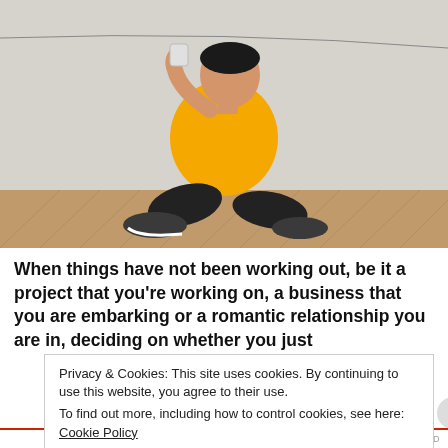[Figure (photo): A man in a yellow t-shirt and black jeans sitting cross-legged on a wooden herringbone floor, holding a tin can telephone to his ear and looking upward thoughtfully, against a light grey wall.]
When things have not been working out, be it a project that you're working on, a business that you are embarking or a romantic relationship you are in, deciding on whether you just
Privacy & Cookies: This site uses cookies. By continuing to use this website, you agree to their use.
To find out more, including how to control cookies, see here: Cookie Policy
Close and accept